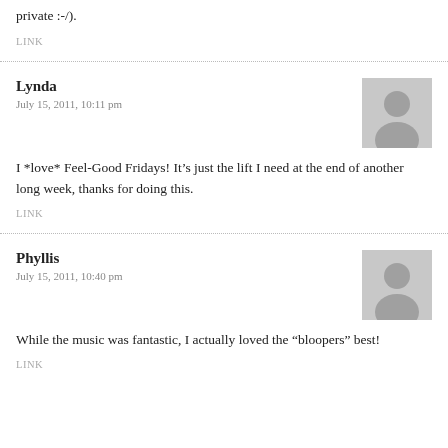private :-/).
LINK
Lynda
July 15, 2011, 10:11 pm
I *love* Feel-Good Fridays! It’s just the lift I need at the end of another long week, thanks for doing this.
LINK
Phyllis
July 15, 2011, 10:40 pm
While the music was fantastic, I actually loved the “bloopers” best!
LINK